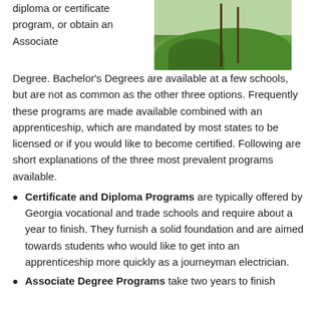diploma or certificate program, or obtain an Associate Degree. Bachelor's Degrees are available at a few schools, but are not as common as the other three options. Frequently these programs are made available combined with an apprenticeship, which are mandated by most states to be licensed or if you would like to become certified. Following are short explanations of the three most prevalent programs available.
[Figure (photo): Outdoor landscape photo showing green hills and trees with utility poles in the foreground]
Certificate and Diploma Programs are typically offered by Georgia vocational and trade schools and require about a year to finish. They furnish a solid foundation and are aimed towards students who would like to get into an apprenticeship more quickly as a journeyman electrician.
Associate Degree Programs take two years to finish